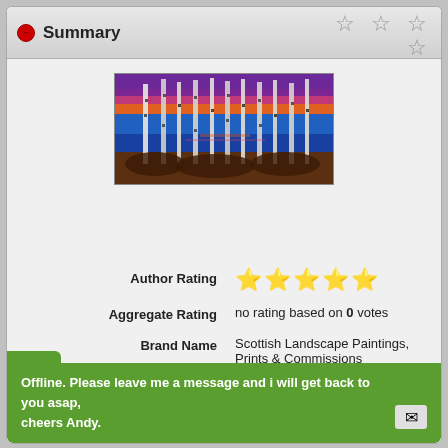Summary
[Figure (illustration): Colorful painting of birch trees against a purple and orange sunset sky with blue tones, titled Loch Lomond Dusk Through The Trees]
Author Rating ★★★★★
Aggregate Rating no rating based on 0 votes
Brand Name Scottish Landscape Paintings, Prints & Commissions
Product Name Loch Lomond Dusk Through The
Offline. Please leave me a message and i will get back to you asap, cheers Andy.